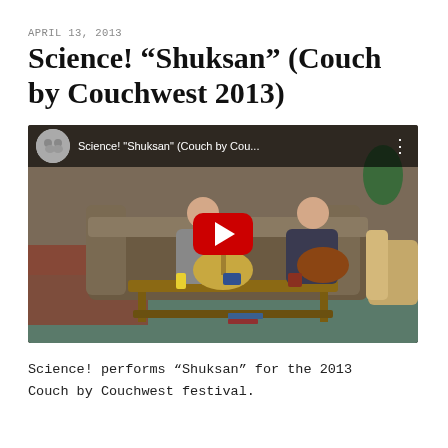APRIL 13, 2013
Science! “Shuksan” (Couch by Couchwest 2013)
[Figure (screenshot): YouTube video thumbnail showing two men playing acoustic guitars on a couch in a living room, with a wooden coffee table in front. The video title reads: Science! "Shuksan" (Couch by Cou... A red YouTube play button is centered on the image.]
Science! performs “Shuksan” for the 2013 Couch by Couchwest festival.